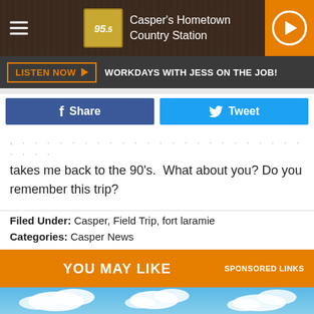95.5 Casper's Hometown Country Station
LISTEN NOW ▶  WORKDAYS WITH JESS ON THE JOB!
[Figure (screenshot): Facebook Share button (blue) and Twitter Tweet button (light blue)]
takes me back to the 90's.  What about you? Do you remember this trip?
Filed Under: Casper, Field Trip, fort laramie
Categories: Casper News
YOU MAY LIKE  SPONSORED LINKS
[Figure (photo): Blue sky with white clouds photo]